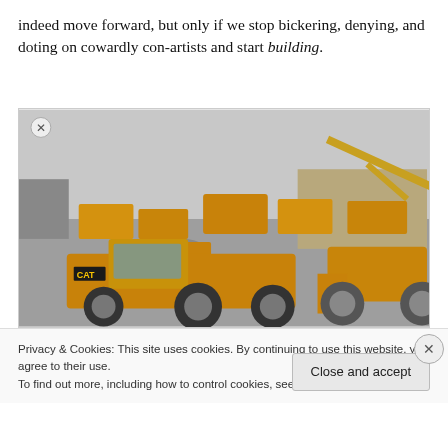indeed move forward, but only if we stop bickering, denying, and doting on cowardly con-artists and start building.
[Figure (photo): Aerial/ground-level view of a large fleet of yellow CAT (Caterpillar) construction equipment including motor graders, wheel loaders, excavators, and compactors parked in a gravel yard with buildings in the background.]
Privacy & Cookies: This site uses cookies. By continuing to use this website, you agree to their use.
To find out more, including how to control cookies, see here: Cookie Policy